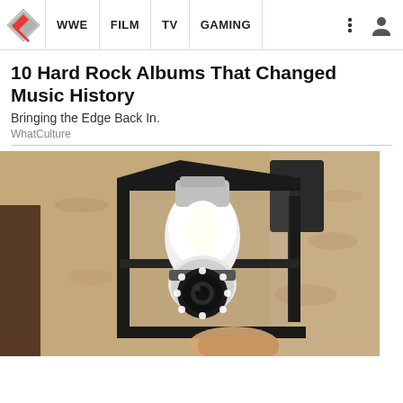WWE | FILM | TV | GAMING
10 Hard Rock Albums That Changed Music History
Bringing the Edge Back In.
WhatCulture
[Figure (photo): Close-up photo of a security camera light bulb mounted in a black outdoor lantern fixture against a stucco wall]